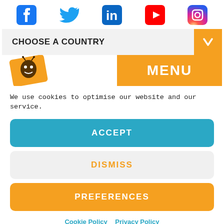[Figure (infographic): Social media icons row: Facebook (blue), Twitter (blue bird), LinkedIn (blue), YouTube (red), Instagram (gradient)]
[Figure (infographic): Choose a Country dropdown selector bar with orange arrow button]
[Figure (infographic): Website partial showing orange mascot logo on left and orange MENU button on right]
We use cookies to optimise our website and our service.
ACCEPT
DISMISS
PREFERENCES
Cookie Policy  Privacy Policy